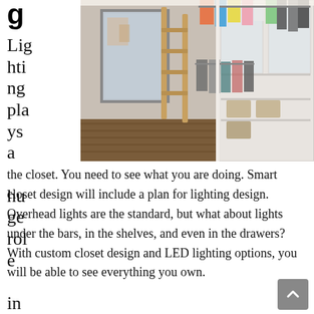g
Lighting plays a huge role in
[Figure (photo): Walk-in closet with wooden ladder, mirrored wall, hanging clothes on rails including colorful garments, white cabinetry with glass doors, and hardwood floor]
the closet. You need to see what you are doing. Smart closet design will include a plan for lighting design. Overhead lights are the standard, but what about lights under the bars, in the shelves, and even in the drawers? With custom closet design and LED lighting options, you will be able to see everything you own.